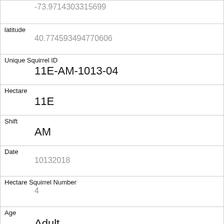| -73.9714303315699 |
| latitude | 40.774593494770606 |
| Unique Squirrel ID | 11E-AM-1013-04 |
| Hectare | 11E |
| Shift | AM |
| Date | 10132018 |
| Hectare Squirrel Number | 4 |
| Age | Adult |
| Primary Fur Color | Black |
| Highlight Fur Color |  |
| Combination of Primary and Highlight Color |  |